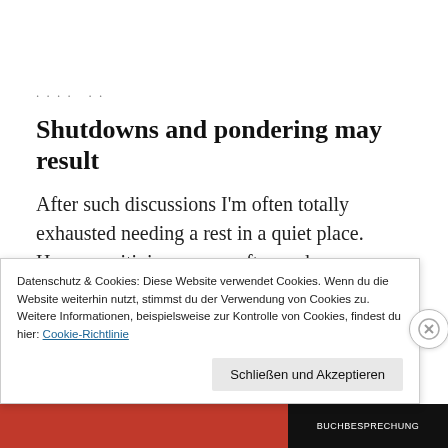· · · · ·
Shutdowns and pondering may result
After such discussions I'm often totally exhausted needing a rest in a quiet place. Hypersensitivies worsen after such 'socialising' and every noise and every movement in my surroundings are just too much. I feel the
Datenschutz & Cookies: Diese Website verwendet Cookies. Wenn du die Website weiterhin nutzt, stimmst du der Verwendung von Cookies zu. Weitere Informationen, beispielsweise zur Kontrolle von Cookies, findest du hier: Cookie-Richtlinie
Schließen und Akzeptieren